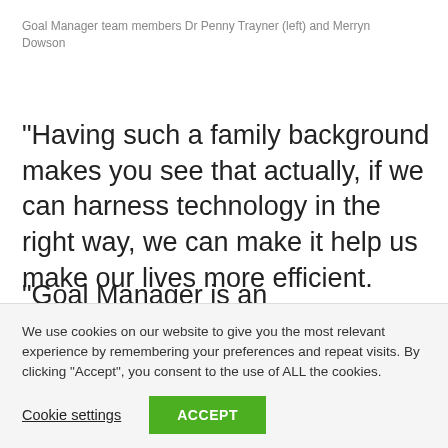Goal Manager team members Dr Penny Trayner (left) and Merryn Dowson
“Having such a family background makes you see that actually, if we can harness technology in the right way, we can make it help us make our lives more efficient.
“Goal Manager is an administrative tool which is there to speed up something that takes a long time to do in a manual way. But the idea of it is to create more
We use cookies on our website to give you the most relevant experience by remembering your preferences and repeat visits. By clicking “Accept”, you consent to the use of ALL the cookies.
Cookie settings
ACCEPT